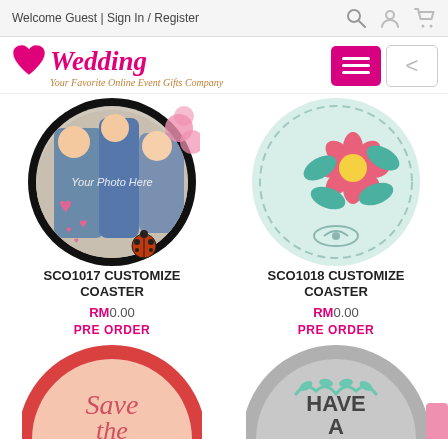Welcome Guest | Sign In / Register
[Figure (logo): Wedding company logo with heart icon and tagline 'Your Favorite Online Event Gifts Company']
[Figure (photo): SCO1017 Customize Coaster - circular coaster with photo placeholder showing family, decorated with pink hearts and ladybug]
[Figure (illustration): SCO1018 Customize Coaster - circular light blue coaster with pink flower and teal leaves design]
SCO1017 CUSTOMIZE COASTER
RM0.00
PRE ORDER
SCO1018 CUSTOMIZE COASTER
RM0.00
PRE ORDER
[Figure (illustration): Circular coaster with red border, pink interior, 'Save the' text in cursive]
[Figure (illustration): Circular grey coaster with teal leaf branches and 'HAVE A NICE' text]